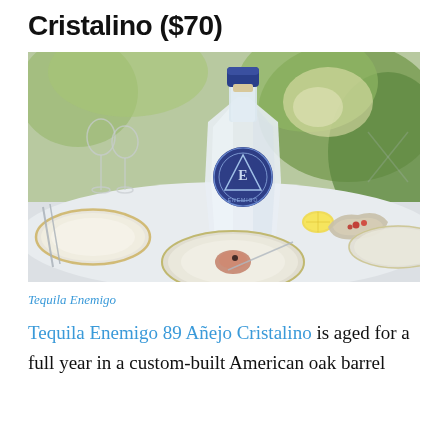Cristalino ($70)
[Figure (photo): A clear crystal bottle of Tequila Enemigo 89 Añejo Cristalino with a blue label and blue cap, set on a fine dining table with wine glasses, plates, cutlery, lemon slices, and an oyster with pomegranate seeds. Green foliage in the background.]
Tequila Enemigo
Tequila Enemigo 89 Añejo Cristalino is aged for a full year in a custom-built American oak barrel